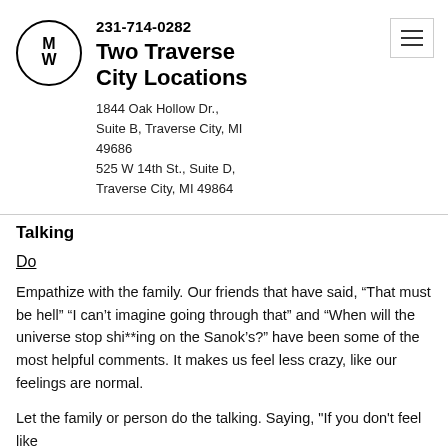[Figure (logo): Circular logo with stylized M and W letters inside]
231-714-0282
Two Traverse City Locations
1844 Oak Hollow Dr., Suite B, Traverse City, MI 49686
525 W 14th St., Suite D, Traverse City, MI 49864
Talking
Do
Empathize with the family. Our friends that have said, “That must be hell” “I can’t imagine going through that” and “When will the universe stop shi**ing on the Sanok’s?” have been some of the most helpful comments. It makes us feel less crazy, like our feelings are normal.
Let the family or person do the talking. Saying, "If you don't feel like